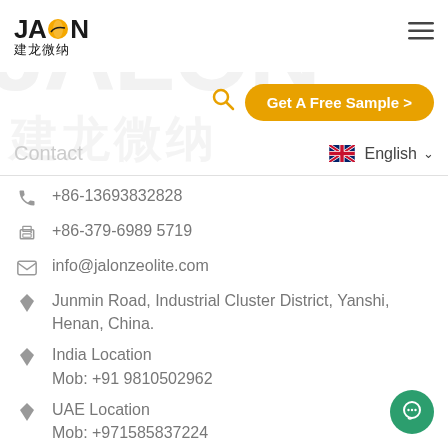[Figure (logo): JALON logo with orange globe icon and Chinese text 建龙微纳 below]
[Figure (illustration): Faint watermark of JALON and 建龙微纳 in large gray text in background]
Get A Free Sample >
Contact
English
+86-13693832828
+86-379-6989 5719
info@jalonzeolite.com
Junmin Road, Industrial Cluster District, Yanshi, Henan, China.
India Location
Mob: +91 9810502962
UAE Location
Mob: +971585837224